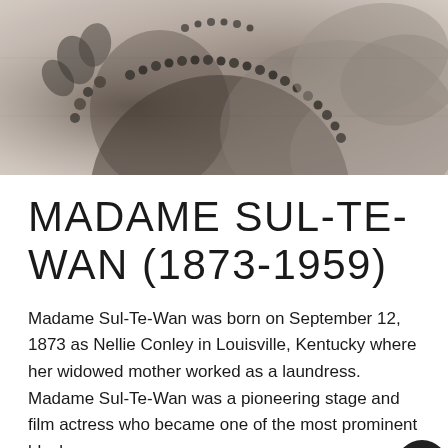[Figure (photo): Vintage black and white photograph of Madame Sul-Te-Wan, showing her face and upper body with decorative beaded accessories visible]
MADAME SUL-TE-WAN (1873-1959)
Madame Sul-Te-Wan was born on September 12, 1873 as Nellie Conley in Louisville, Kentucky where her widowed mother worked as a laundress.  Madame Sul-Te-Wan was a pioneering stage and film actress who became one of the most prominent black